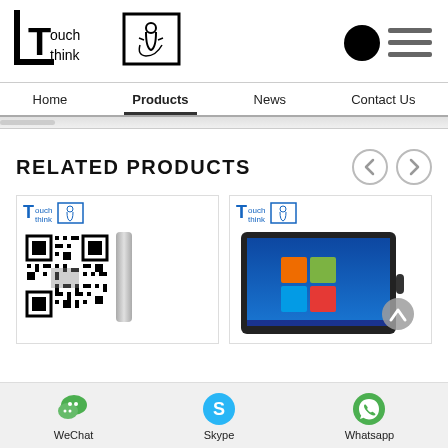[Figure (logo): TouchThink company logo with stylized T and hand icon in a box]
[Figure (illustration): Circle icon and hamburger menu lines]
Home  Products  News  Contact Us
RELATED PRODUCTS
[Figure (illustration): Product card 1: QR code and tablet side view with TouchThink logo]
[Figure (illustration): Product card 2: Tablet with Windows 7 desktop screenshot and TouchThink logo]
WeChat  Skype  Whatsapp